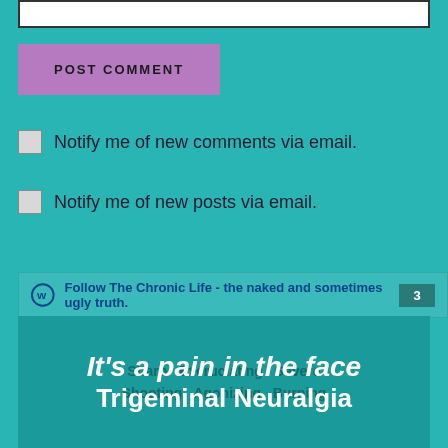[Figure (screenshot): Input text box at the top of the page, partially visible with a border]
POST COMMENT
Notify me of new comments via email.
Notify me of new posts via email.
Follow The Chronic Life - the naked and sometimes ugly truth. 3
[Figure (infographic): Teal image banner with white bold text reading 'It's a pain in the face' and 'Trigeminal Neuralgia' with word cloud background including terms like Sharp, Excruciating, Severe, Shooting, Agonizing, Burning]